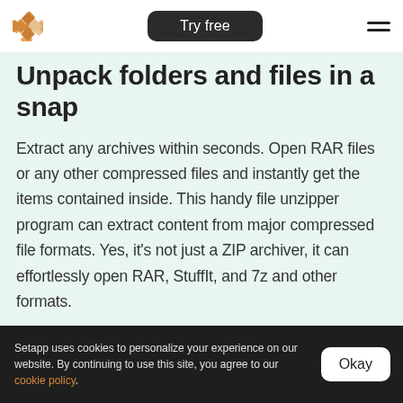[Figure (logo): Diamond/kite pattern logo in gold/orange colors]
Try free
[Figure (other): Hamburger menu icon (two horizontal lines)]
Unpack folders and files in a snap
Extract any archives within seconds. Open RAR files or any other compressed files and instantly get the items contained inside. This handy file unzipper program can extract content from major compressed file formats. Yes, it’s not just a ZIP archiver, it can effortlessly open RAR, StuffIt, and 7z and other formats.
Setapp uses cookies to personalize your experience on our website. By continuing to use this site, you agree to our cookie policy.